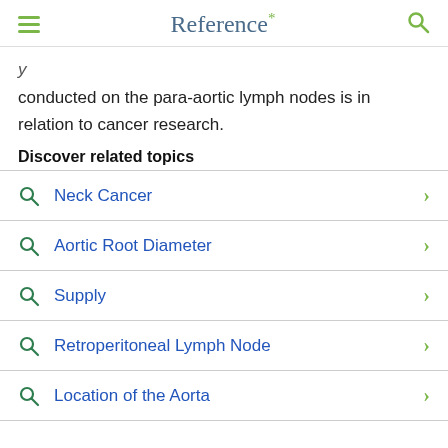Reference*
conducted on the para-aortic lymph nodes is in relation to cancer research.
Discover related topics
Neck Cancer
Aortic Root Diameter
Supply
Retroperitoneal Lymph Node
Location of the Aorta